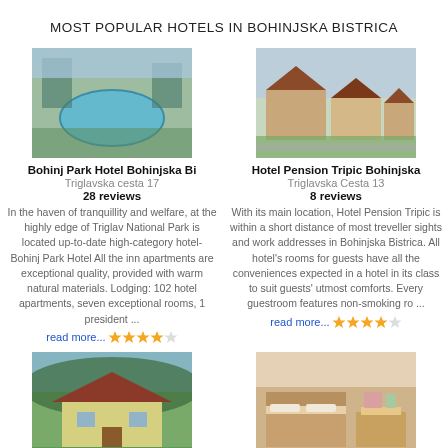MOST POPULAR HOTELS IN BOHINJSKA BISTRICA
[Figure (photo): Aerial view of Bohinj Park Hotel outdoor pool and surroundings]
Bohinj Park Hotel Bohinjska Bi
Triglavska cesta 17
28 reviews
In the haven of tranquillity and welfare, at the highly edge of Triglav National Park is located up-to-date high-category hotel- Bohinj Park Hotel All the inn apartments are exceptional quality, provided with warm natural materials. Lodging: 102 hotel apartments, seven exceptional rooms, 1 president ...
read more...
[Figure (photo): Exterior view of Hotel Pension Tripic with traditional Alpine architecture]
Hotel Pension Tripic Bohinjska
Triglavska Cesta 13
8 reviews
With its main location, Hotel Pension Tripic is within a short distance of most treveller sights and work addresses in Bohinjska Bistrica. All hotel's rooms for guests have all the conveniences expected in a hotel in its class to suit guests' utmost comforts. Every guestroom features non-smoking ro ...
read more...
[Figure (photo): Exterior view of Apartments Tubej, a house with red roof surrounded by greenery]
Apartments Tubej Bohinjska Bis
Ravne V Bohinju 16
13 reviews
The Apartments Tubej is situated in Bohinjska Bistrica making it the best
[Figure (photo): Interior room view of Apartments Arh showing bed and dining area]
Apartments Arh Bohinjska Bistr
Savica 5
0 reviews
The Apartments Arh is completely situated both for work and recreation customers to